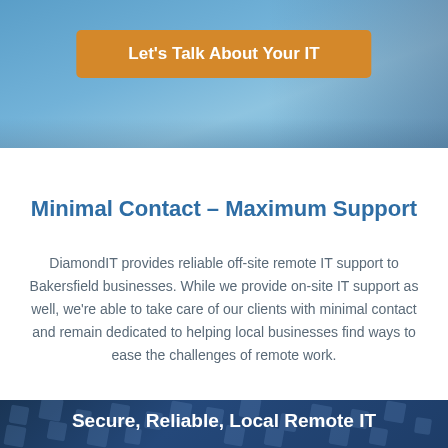[Figure (illustration): Blue gradient hero banner background with a partially visible person/office scene]
Let's Talk About Your IT
Minimal Contact – Maximum Support
DiamondIT provides reliable off-site remote IT support to Bakersfield businesses. While we provide on-site IT support as well, we're able to take care of our clients with minimal contact and remain dedicated to helping local businesses find ways to ease the challenges of remote work.
[Figure (illustration): Dark blue geometric diamond/square pattern background section]
Secure, Reliable, Local Remote IT